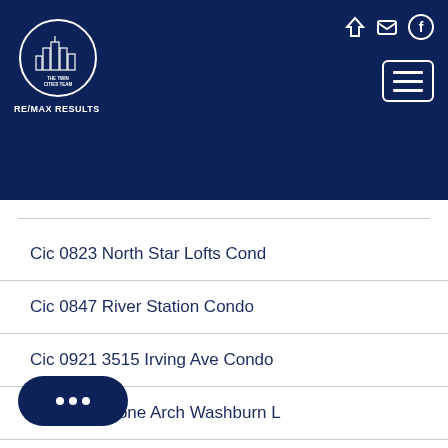The Twin Cities Team RE/MAX Results
Cic 0823 North Star Lofts Cond
Cic 0847 River Station Condo
Cic 0921 3515 Irving Ave Condo
Cic 0935 Stone Arch Washburn L
CIC 1024 801 Washington Lofts
Cic 1029 301 Kenwood Pkwy Cond
327 Humboldt Condo